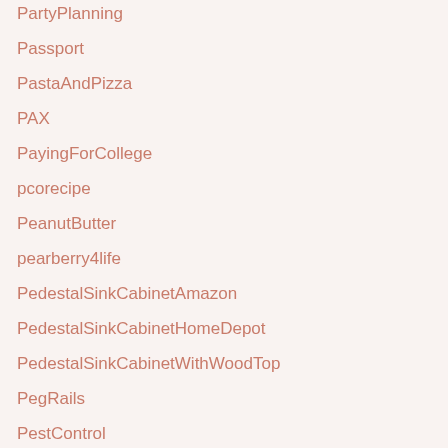PartyPlanning
Passport
PastaAndPizza
PAX
PayingForCollege
pcorecipe
PeanutButter
pearberry4life
PedestalSinkCabinetAmazon
PedestalSinkCabinetHomeDepot
PedestalSinkCabinetWithWoodTop
PegRails
PestControl
Pesto
pflanzen